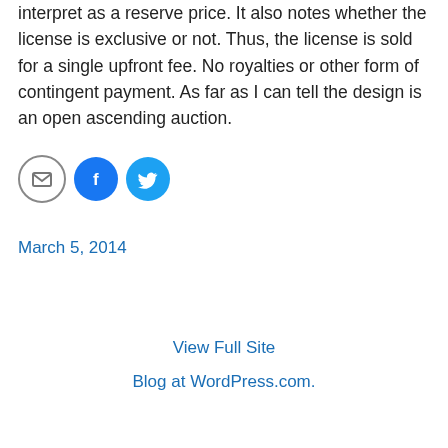interpret as a reserve price. It also notes whether the license is exclusive or not. Thus, the license is sold for a single upfront fee. No royalties or other form of contingent payment. As far as I can tell the design is an open ascending auction.
[Figure (infographic): Three social sharing icon buttons: email (grey outline circle with envelope icon), Facebook (blue circle with 'f' icon), Twitter (blue circle with bird icon)]
March 5, 2014
View Full Site
Blog at WordPress.com.